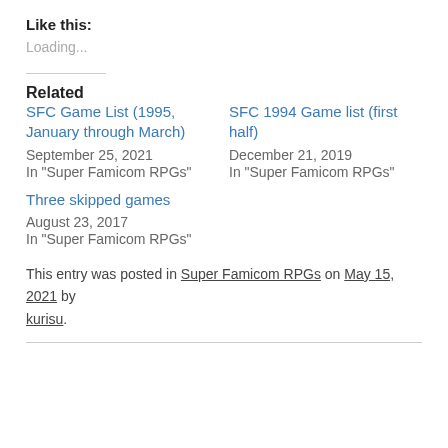Like this:
Loading...
Related
SFC Game List (1995, January through March)
September 25, 2021
In "Super Famicom RPGs"
SFC 1994 Game list (first half)
December 21, 2019
In "Super Famicom RPGs"
Three skipped games
August 23, 2017
In "Super Famicom RPGs"
This entry was posted in Super Famicom RPGs on May 15, 2021 by kurisu.